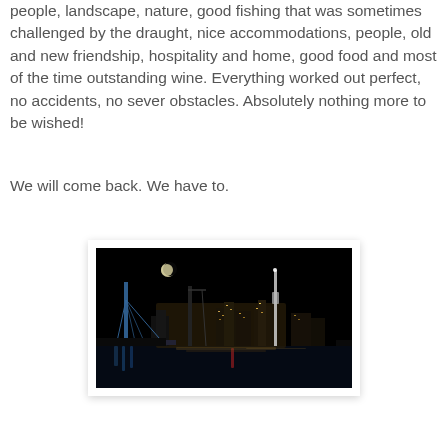We had an unbelievable dry, long and sunny summer, nice people, landscape, nature, good fishing that was sometimes challenged by the draught, nice accommodations, people, old and new friendship, hospitality and home, good food and most of the time outstanding wine. Everything worked out perfect, no accidents, no sever obstacles. Absolutely nothing more to be wished!
We will come back. We have to.
[Figure (photo): Night cityscape of Auckland showing the waterfront with illuminated buildings, the Sky Tower, cranes, a suspension bridge with blue lighting, and reflections on the water under a dark sky with a visible moon.]